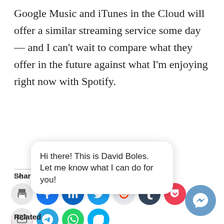Google Music and iTunes in the Cloud will offer a similar streaming service some day — and I can't wait to compare what they offer in the future against what I'm enjoying right now with Spotify.
Share this:
[Figure (infographic): Row of circular social media share icon buttons: print, Facebook, LinkedIn, Twitter, Reddit, Tumblr, Pocket, Pinterest, Telegram, WhatsApp, Skype, and Email]
Like this:
[Figure (infographic): WordPress Like button widget with a star icon and 'Like' text]
[Figure (infographic): Facebook Messenger chat bubble popup with text: Hi there! This is David Boles. Let me know what I can do for you!]
Related